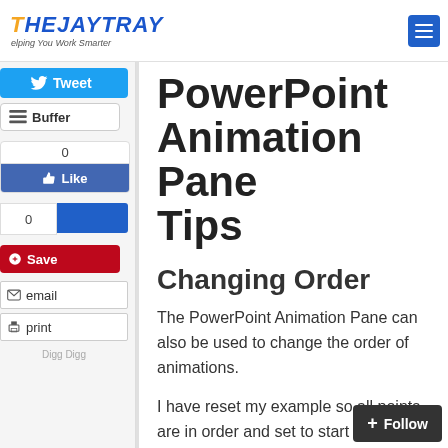THEJAYTRAY - Helping You Work Smarter
PowerPoint Animation Pane Tips
Changing Order
The PowerPoint Animation Pane can also be used to change the order of animations.
I have reset my example so all points are in order and set to start on-click.